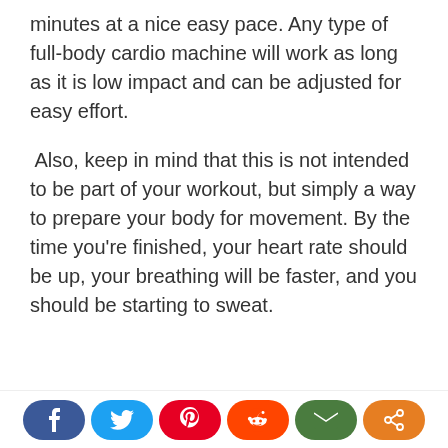minutes at a nice easy pace. Any type of full-body cardio machine will work as long as it is low impact and can be adjusted for easy effort.
Also, keep in mind that this is not intended to be part of your workout, but simply a way to prepare your body for movement. By the time you're finished, your heart rate should be up, your breathing will be faster, and you should be starting to sweat.
[Figure (infographic): Social sharing buttons: Facebook (dark blue), Twitter (light blue), Pinterest (red), Reddit (orange-red), Email (green), Share (orange)]